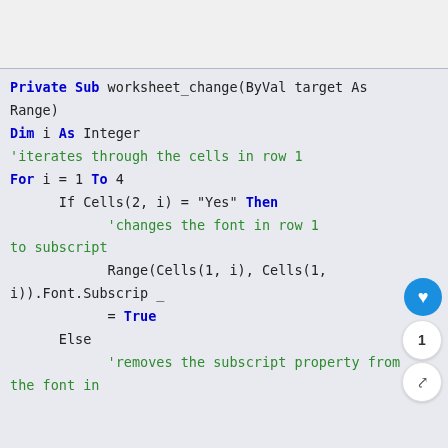[Figure (screenshot): Gray top area of a webpage screenshot]
Private Sub worksheet_change(ByVal target As Range)
Dim i As Integer
'iterates through the cells in row 1
For i = 1 To 4
    If Cells(2, i) = "Yes" Then
        'changes the font in row 1 to subscript
        Range(Cells(1, i), Cells(1, i)).Font.Subscrip _
        = True
    Else
        'removes the subscript property from the font in